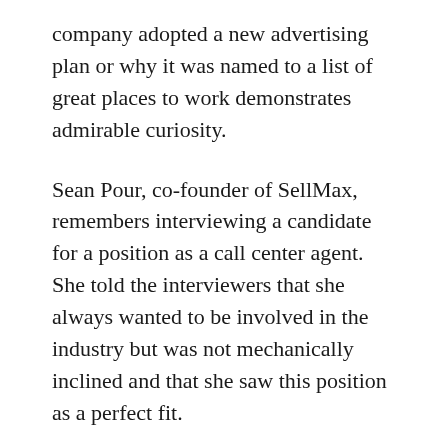company adopted a new advertising plan or why it was named to a list of great places to work demonstrates admirable curiosity.
Sean Pour, co-founder of SellMax, remembers interviewing a candidate for a position as a call center agent. She told the interviewers that she always wanted to be involved in the industry but was not mechanically inclined and that she saw this position as a perfect fit.
Carolina King, chief people officer for the executive search firm Lucas Group, was interested in something like this, as he wrote a response with the subject line ‘call off the search, you have already found the right hire’.